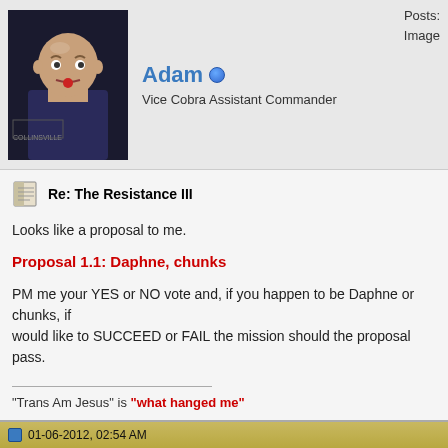Posts:
Image
Adam
Vice Cobra Assistant Commander
Re: The Resistance III
Looks like a proposal to me.
Proposal 1.1: Daphne, chunks
PM me your YES or NO vote and, if you happen to be Daphne or chunks, if you would like to SUCCEED or FAIL the mission should the proposal pass.
"Trans Am Jesus" is "what hanged me"
[Figure (photo): A black Pontiac Trans Am car with a painted hood depicting Jesus, shown from a front-side angle on a white background]
01-06-2012, 02:54 AM